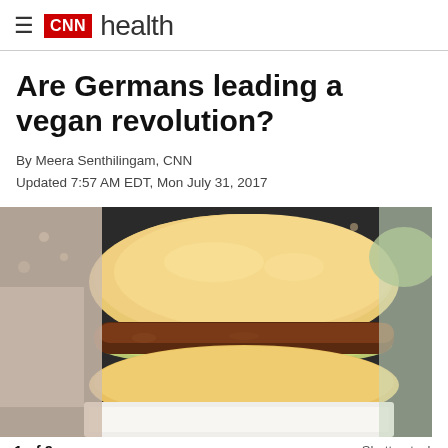CNN health
Are Germans leading a vegan revolution?
By Meera Senthilingam, CNN
Updated 7:57 AM EDT, Mon July 31, 2017
[Figure (photo): A vegan sausage in a bread roll with mustard/avocado spread, on white paper. Food photography on dark background with scattered seeds.]
1 of 9    Shutterstock